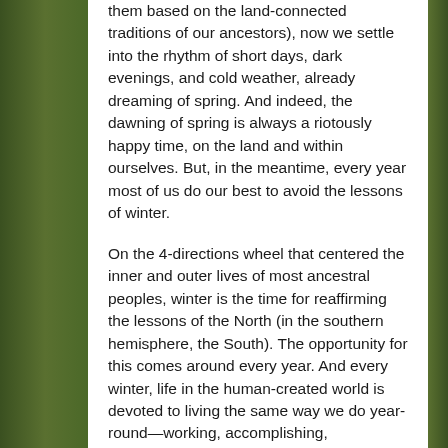them based on the land-connected traditions of our ancestors), now we settle into the rhythm of short days, dark evenings, and cold weather, already dreaming of spring. And indeed, the dawning of spring is always a riotously happy time, on the land and within ourselves. But, in the meantime, every year most of us do our best to avoid the lessons of winter.
On the 4-directions wheel that centered the inner and outer lives of most ancestral peoples, winter is the time for reaffirming the lessons of the North (in the southern hemisphere, the South). The opportunity for this comes around every year. And every winter, life in the human-created world is devoted to living the same way we do year-round—working, accomplishing, accumulating, staying busy, getting ahead. All winter, most people worldwide continue to align with the principles of the so-called world—the